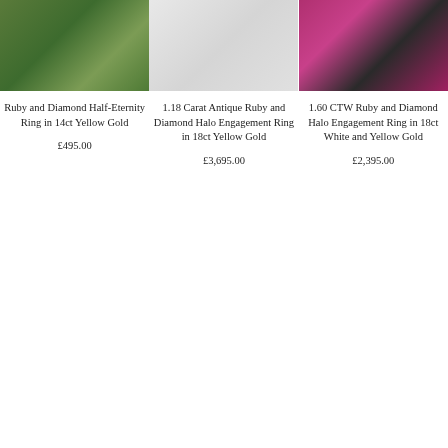[Figure (photo): Ring on green foliage background]
[Figure (photo): Ring on light gray background]
[Figure (photo): Ring on black velvet box with pink flower]
Ruby and Diamond Half-Eternity Ring in 14ct Yellow Gold
£495.00
1.18 Carat Antique Ruby and Diamond Halo Engagement Ring in 18ct Yellow Gold
£3,695.00
1.60 CTW Ruby and Diamond Halo Engagement Ring in 18ct White and Yellow Gold
£2,395.00